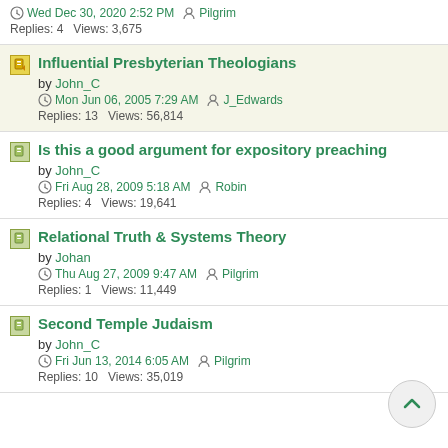Wed Dec 30, 2020 2:52 PM  Pilgrim
Replies: 4   Views: 3,675
Influential Presbyterian Theologians
by John_C
Mon Jun 06, 2005 7:29 AM  J_Edwards
Replies: 13   Views: 56,814
Is this a good argument for expository preaching
by John_C
Fri Aug 28, 2009 5:18 AM  Robin
Replies: 4   Views: 19,641
Relational Truth & Systems Theory
by Johan
Thu Aug 27, 2009 9:47 AM  Pilgrim
Replies: 1   Views: 11,449
Second Temple Judaism
by John_C
Fri Jun 13, 2014 6:05 AM  Pilgrim
Replies: 10   Views: 35,019